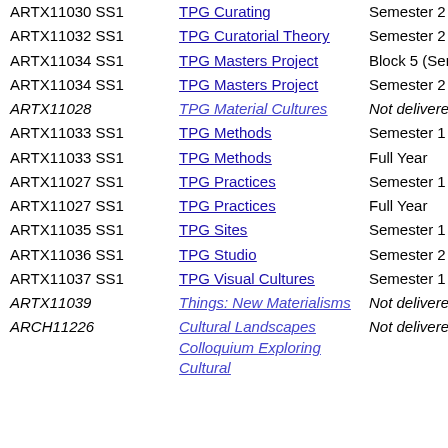| Code | Title | Delivery |
| --- | --- | --- |
| ARTX11030 SS1 | TPG Curating | Semester 2 |
| ARTX11032 SS1 | TPG Curatorial Theory | Semester 2 |
| ARTX11034 SS1 | TPG Masters Project | Block 5 (Sem 2 |
| ARTX11034 SS1 | TPG Masters Project | Semester 2 |
| ARTX11028 | TPG Material Cultures | Not delivered th |
| ARTX11033 SS1 | TPG Methods | Semester 1 |
| ARTX11033 SS1 | TPG Methods | Full Year |
| ARTX11027 SS1 | TPG Practices | Semester 1 |
| ARTX11027 SS1 | TPG Practices | Full Year |
| ARTX11035 SS1 | TPG Sites | Semester 1 |
| ARTX11036 SS1 | TPG Studio | Semester 2 |
| ARTX11037 SS1 | TPG Visual Cultures | Semester 1 |
| ARTX11039 | Things: New Materialisms | Not delivered th |
| ARCH11226 | Cultural Landscapes Colloquium Exploring Cultural | Not delivered th |